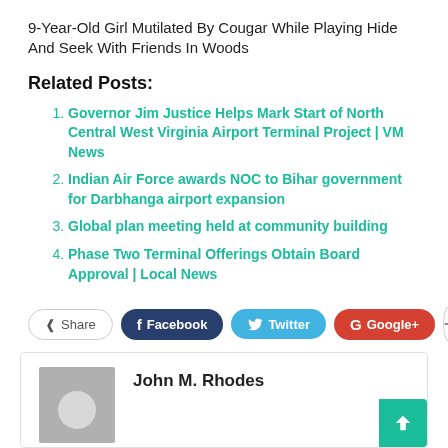9-Year-Old Girl Mutilated By Cougar While Playing Hide And Seek With Friends In Woods
Related Posts:
Governor Jim Justice Helps Mark Start of North Central West Virginia Airport Terminal Project | VM News
Indian Air Force awards NOC to Bihar government for Darbhanga airport expansion
Global plan meeting held at community building
Phase Two Terminal Offerings Obtain Board Approval | Local News
[Figure (infographic): Social share buttons: Share, Facebook, Twitter, Google+, and a plus button]
John M. Rhodes